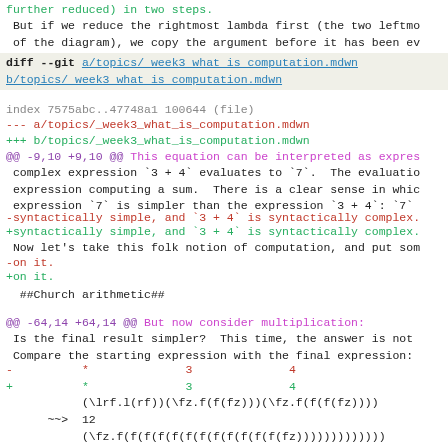further reduced) in two steps.
But if we reduce the rightmost lambda first (the two leftmo
of the diagram), we copy the argument before it has been ev
diff --git a/topics/ week3 what is computation.mdwn b/topics/ week3 what is computation.mdwn
index 7575abc..47748a1 100644 (file)
--- a/topics/_week3_what_is_computation.mdwn
+++ b/topics/_week3_what_is_computation.mdwn
@@ -9,10 +9,10 @@ This equation can be interpreted as expres
complex expression `3 + 4` evaluates to `7`.  The evaluatio
 expression computing a sum.  There is a clear sense in whic
 expression `7` is simpler than the expression `3 + 4`: `7`
-syntactically simple, and `3 + 4` is syntactically complex.
+syntactically simple, and `3 + 4` is syntactically complex.
Now let's take this folk notion of computation, and put som
-on it.
+on it.
##Church arithmetic##
@@ -64,14 +64,14 @@ But now consider multiplication:
Is the final result simpler?  This time, the answer is not
 Compare the starting expression with the final expression:
-          *              3              4
+          *              3              4
           (\lrf.l(rf))(\fz.f(f(fz)))(\fz.f(f(f(fz))))
      ~~>  12
           (\fz.f(f(f(f(f(f(f(f(f(f(f(f(fz))))))))))))